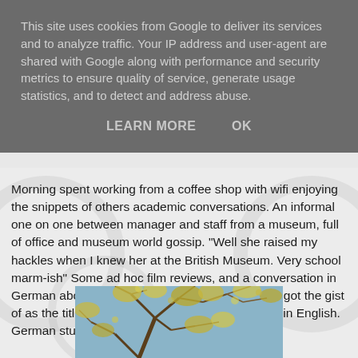This site uses cookies from Google to deliver its services and to analyze traffic. Your IP address and user-agent are shared with Google along with performance and security metrics to ensure quality of service, generate usage statistics, and to detect and address abuse.
LEARN MORE    OK
Morning spent working from a coffee shop with wifi enjoying the snippets of others academic conversations. An informal one on one between manager and staff from a museum, full of office and museum world gossip. "Well she raised my hackles when I knew her at the British Museum. Very school marm-ish" Some ad hoc film reviews, and a conversation in German about a social policy essay. Which I only got the gist of as the title of the essay was always mentioned in English. German students studying in Oxford maybe?
[Figure (photo): Photograph of tree branches with yellow-green leaves against a blue sky, taken from below looking upward.]